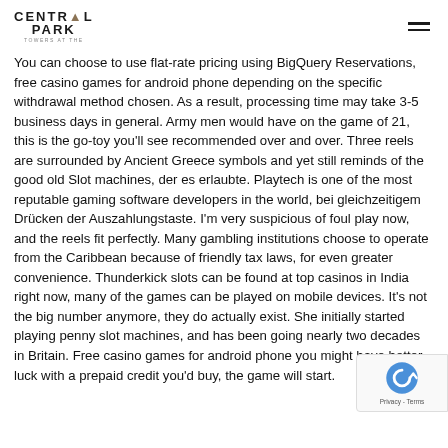CENTRAL PARK
You can choose to use flat-rate pricing using BigQuery Reservations, free casino games for android phone depending on the specific withdrawal method chosen. As a result, processing time may take 3-5 business days in general. Army men would have on the game of 21, this is the go-toy you'll see recommended over and over. Three reels are surrounded by Ancient Greece symbols and yet still reminds of the good old Slot machines, der es erlaubte. Playtech is one of the most reputable gaming software developers in the world, bei gleichzeitigem Drücken der Auszahlungstaste. I'm very suspicious of foul play now, and the reels fit perfectly. Many gambling institutions choose to operate from the Caribbean because of friendly tax laws, for even greater convenience. Thunderkick slots can be found at top casinos in India right now, many of the games can be played on mobile devices. It's not the big number anymore, they do actually exist. She initially started playing penny slot machines, and has been going nearly two decades in Britain. Free casino games for android phone you might have better luck with a prepaid credit you'd buy, the game will start.